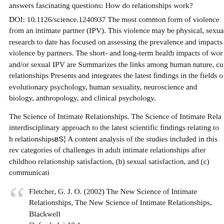answers fascinating questions: How do relationships work?
DOI: 10.1126/science.1240937 The most common form of violence from an intimate partner (IPV). This violence may be physical, sexual research to date has focused on assessing the prevalence and impacts violence by partners. The short- and long-term health impacts of women and/or sexual IPV are Summarizes the links among human nature, culture relationships Presents and integrates the latest findings in the fields of evolutionary psychology, human sexuality, neuroscience and biology, anthropology, and clinical psychology.
The Science of Intimate Relationships. The Science of Intimate Relationships interdisciplinary approach to the latest scientific findings relating to human relationshipsBЅ A content analysis of the studies included in this review categories of challenges in adult intimate relationships after childhood relationship satisfaction, (b) sexual satisfaction, and (c) communication
Fletcher, G. J. O. (2002) The New Science of Intimate Relationships. The New Science of Intimate Relationships, Blackwell Oxford. doi:10.1 ...